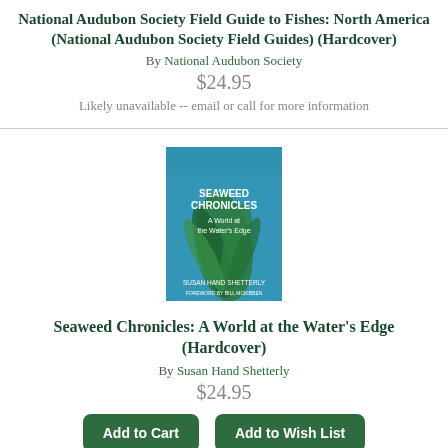National Audubon Society Field Guide to Fishes: North America (National Audubon Society Field Guides) (Hardcover)
By National Audubon Society
$24.95
Likely unavailable -- email or call for more information
[Figure (photo): Book cover of Seaweed Chronicles: A World at the Water's Edge by Susan Hand Shetterly. Blue-green underwater background with seaweed. Title in white text.]
Seaweed Chronicles: A World at the Water's Edge (Hardcover)
By Susan Hand Shetterly
$24.95
Add to Cart
Add to Wish List
Not on our shelves, but we can order this for you!